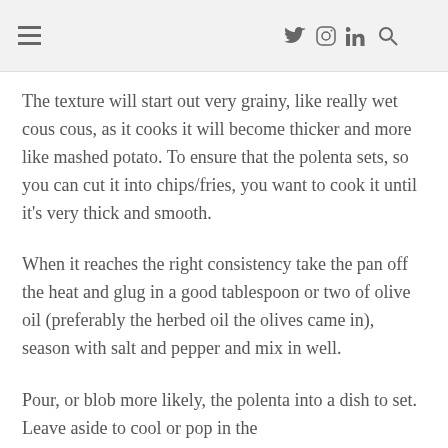≡  𝕥  📷  in  🔍
The texture will start out very grainy, like really wet cous cous, as it cooks it will become thicker and more like mashed potato. To ensure that the polenta sets, so you can cut it into chips/fries, you want to cook it until it's very thick and smooth.
When it reaches the right consistency take the pan off the heat and glug in a good tablespoon or two of olive oil (preferably the herbed oil the olives came in), season with salt and pepper and mix in well.
Pour, or blob more likely, the polenta into a dish to set. Leave aside to cool or pop in the